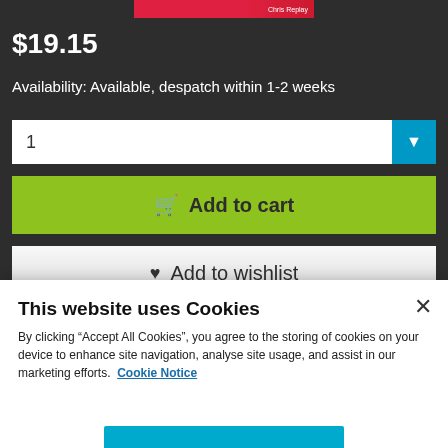$19.15
Availability: Available, despatch within 1-2 weeks
1
Add to cart
Add to wishlist
Find sales consultant
This website uses Cookies
By clicking “Accept All Cookies”, you agree to the storing of cookies on your device to enhance site navigation, analyse site usage, and assist in our marketing efforts. Cookie Notice